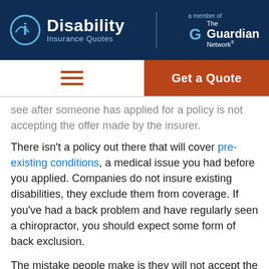[Figure (logo): Disability Insurance Quotes logo with Guardian Network affiliation on dark blue background]
[Figure (infographic): Navigation bar with hamburger menu icon and orange Get a Quote button]
see after someone has applied for a policy is not accepting the offer made by the insurer.
There isn't a policy out there that will cover pre-existing conditions, a medical issue you had before you applied. Companies do not insure existing disabilities, they exclude them from coverage. If you've had a back problem and have regularly seen a chiropractor, you should expect some form of back exclusion.
The mistake people make is they will not accept the policy with this exclusion. Even though they didn't initially want coverage because of their back, and they don't ever think